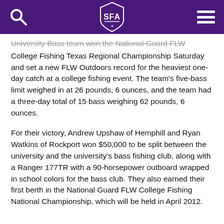SFA header navigation bar
University Bass team won the National Guard FLW College Fishing Texas Regional Championship Saturday and set a new FLW Outdoors record for the heaviest one-day catch at a college fishing event. The team's five-bass limit weighed in at 26 pounds, 6 ounces, and the team had a three-day total of 15 bass weighing 62 pounds, 6 ounces.
For their victory, Andrew Upshaw of Hemphill and Ryan Watkins of Rockport won $50,000 to be split between the university and the university's bass fishing club, along with a Ranger 177TR with a 90-horsepower outboard wrapped in school colors for the bass club. They also earned their first berth in the National Guard FLW College Fishing National Championship, which will be held in April 2012.